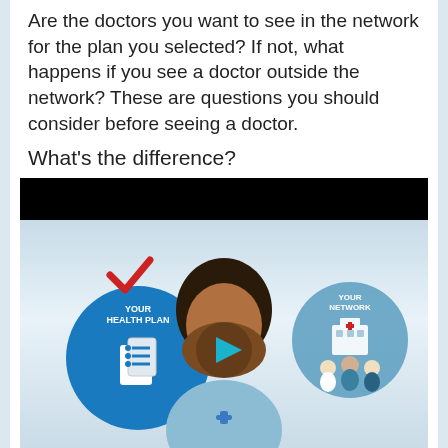Are the doctors you want to see in the network for the plan you selected? If not, what happens if you see a doctor outside the network? These are questions you should consider before seeing a doctor.
What's the difference?
[Figure (screenshot): Video player thumbnail showing an animated illustration of a person with 'YOUR HEALTH PLAN' circle on the left (with a checkmark and a document icon), a play button in the center over a person's face, and 'YOUR NETWORK' circle on the right with doctors and a hospital building. Black bars at top and bottom of the video player.]
Networks & Out-